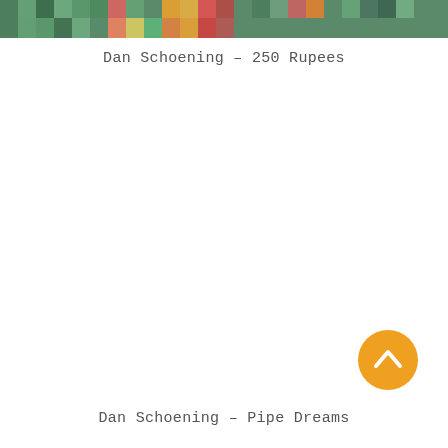[Figure (illustration): Colorful mosaic/pixel art banner strip at the top of the page with various icons and colorful squares]
Dan Schoening – 250 Rupees
[Figure (other): Orange circular back-to-top button with an upward-pointing chevron arrow]
Dan Schoening – Pipe Dreams